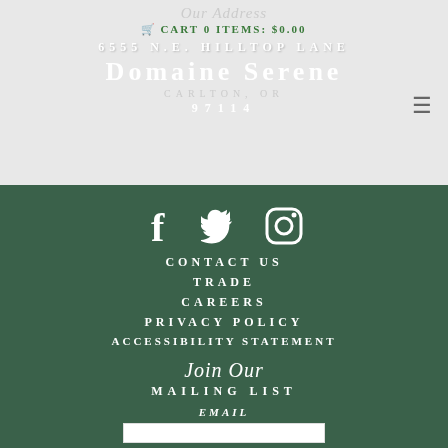Our Address
CART 0 ITEMS: $0.00
6555 N.E. HILLTOP LANE
Domaine Serene
97114
[Figure (other): Social media icons: Facebook, Twitter, Instagram]
CONTACT US
TRADE
CAREERS
PRIVACY POLICY
ACCESSIBILITY STATEMENT
Join Our
MAILING LIST
EMAIL